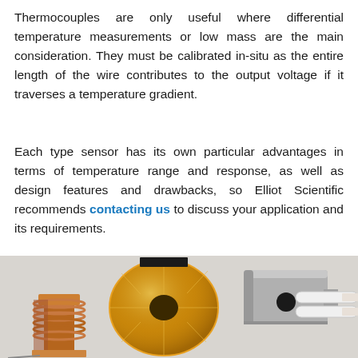Thermocouples are only useful where differential temperature measurements or low mass are the main consideration. They must be calibrated in-situ as the entire length of the wire contributes to the output voltage if it traverses a temperature gradient.
Each type sensor has its own particular advantages in terms of temperature range and response, as well as design features and drawbacks, so Elliot Scientific recommends contacting us to discuss your application and its requirements.
[Figure (photo): Photo of various temperature sensor hardware: a copper threaded coil/bolt assembly, a large gold-colored disc with a hole, a silver rectangular box sensor with a circular hole, and white ceramic tube sensors.]